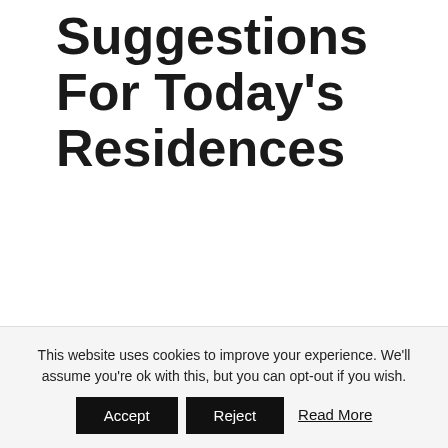Kitchen Style Suggestions For Today's Residences
August 11, 2017 - by Samuel Davis
Kitchen Design Ideas   When thinking of kitchen style tips, you could use kitchen design and style software program. It could be
This website uses cookies to improve your experience. We'll assume you're ok with this, but you can opt-out if you wish.